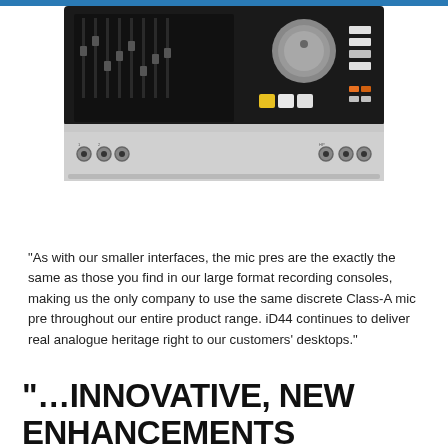[Figure (photo): Audio interface device (iD44) showing top and front panel with knobs, faders, buttons, and input jacks on a silver/black chassis]
“As with our smaller interfaces, the mic pres are the exactly the same as those you find in our large format recording consoles, making us the only company to use the same discrete Class-A mic pre throughout our entire product range. iD44 continues to deliver real analogue heritage right to our customers’ desktops.”
“…INNOVATIVE, NEW ENHANCEMENTS INSPIRED BY